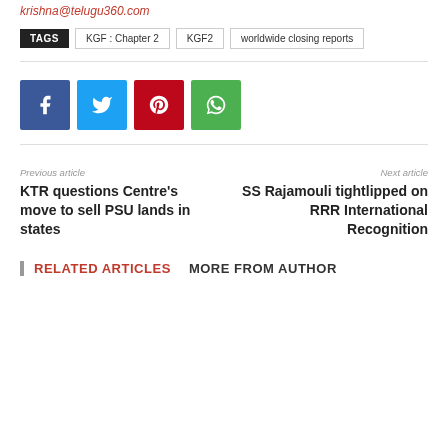krishna@telugu360.com
TAGS  KGF : Chapter 2  KGF2  worldwide closing reports
[Figure (other): Social share buttons: Facebook (blue), Twitter (light blue), Pinterest (red), WhatsApp (green)]
Previous article
KTR questions Centre's move to sell PSU lands in states
Next article
SS Rajamouli tightlipped on RRR International Recognition
RELATED ARTICLES  MORE FROM AUTHOR